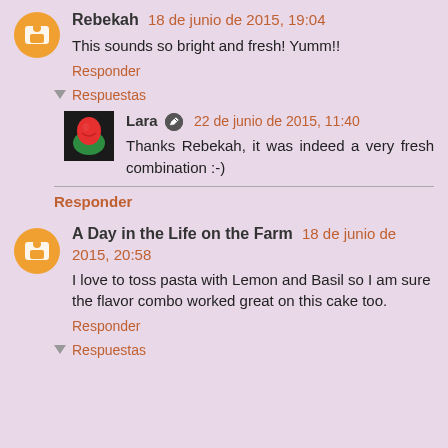Rebekah 18 de junio de 2015, 19:04
This sounds so bright and fresh! Yumm!!
Responder
Respuestas
Lara 22 de junio de 2015, 11:40
Thanks Rebekah, it was indeed a very fresh combination :-)
Responder
A Day in the Life on the Farm 18 de junio de 2015, 20:58
I love to toss pasta with Lemon and Basil so I am sure the flavor combo worked great on this cake too.
Responder
Respuestas